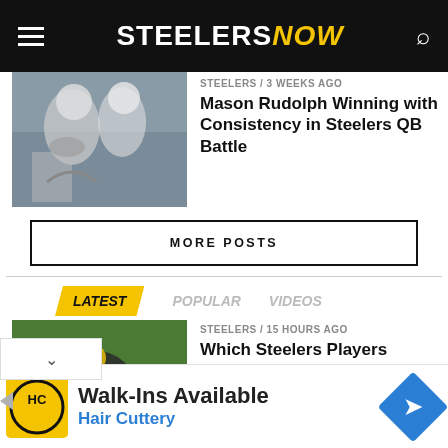STEELERSNOW
STEELERS / 3 weeks ago
Mason Rudolph Winning with Consistency in Steelers QB Battle
[Figure (photo): Football players in action, quarterbacks in white uniforms]
MORE POSTS
LATEST   POPULAR   VIDEOS
STEELERS / 15 hours ago
Which Steelers Players Could Make '11th Hour' Roster Charge?
[Figure (photo): Steelers players in yellow and black uniforms on field]
STEELERS / 16 hours ago
[Figure (photo): Partial image of player, cropped]
Walk-Ins Available
Hair Cuttery
[Figure (logo): HC Hair Cuttery logo in yellow circle]